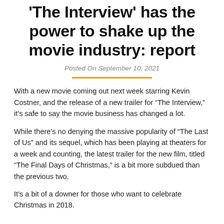'The Interview' has the power to shake up the movie industry: report
Posted On September 10, 2021
With a new movie coming out next week starring Kevin Costner, and the release of a new trailer for “The Interview,” it’s safe to say the movie business has changed a lot.
While there’s no denying the massive popularity of “The Last of Us” and its sequel, which has been playing at theaters for a week and counting, the latest trailer for the new film, titled “The Final Days of Christmas,” is a bit more subdued than the previous two.
It’s a bit of a downer for those who want to celebrate Christmas in 2018.